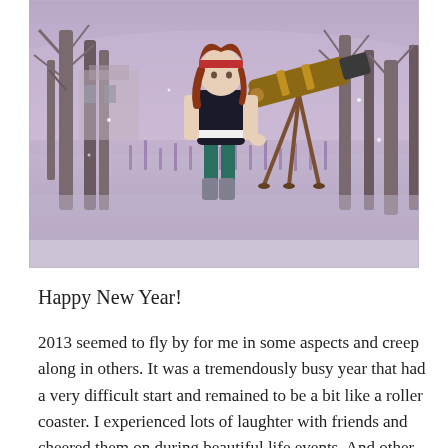[Figure (illustration): A 3D rendered illustration of a young woman with red hair and a green outfit using a large brass telescope on a tripod, standing in a purple/lavender field with bare winter trees in the background and snow on the ground.]
Happy New Year!
2013 seemed to fly by for me in some aspects and creep along in others.  It was a tremendously busy year that had a very difficult start and remained to be a bit like a roller coaster. I experienced lots of laughter with friends and cheered them on during beautiful life events.  And other times felt like...